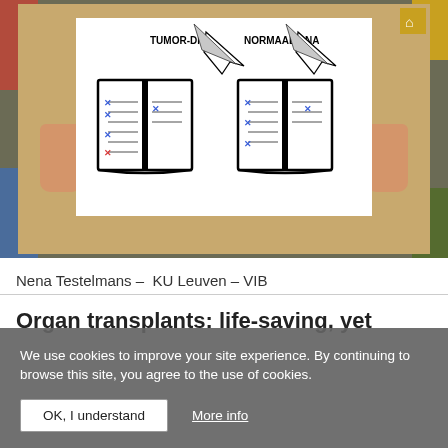[Figure (photo): Photo of hands holding a white board showing two open books labeled TUMOR-DNA and NORMAAL DNA with quill pens, representing DNA comparison illustration]
Nena Testelmans – KU Leuven – VIB
Organ transplants: life-saving, yet
We use cookies to improve your site experience. By continuing to browse this site, you agree to the use of cookies.
OK, I understand
More info